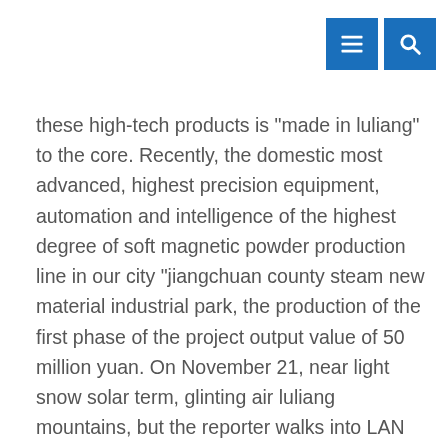[Figure (other): Two blue navigation icon buttons: a menu (list) icon and a search (magnifying glass) icon, positioned top-right]
these high-tech products is "made in luliang" to the core. Recently, the domestic most advanced, highest precision equipment, automation and intelligence of the highest degree of soft magnetic powder production line in our city "jiangchuan county steam new material industrial park, the production of the first phase of the project output value of 50 million yuan. On November 21, near light snow solar term, glinting air luliang mountains, but the reporter walks into LAN county jiangchuan steam new material industrial park of soft magnetic powder production line, only to see a hot busy spectacle: 13 tall intelligent powder products pressure machine is working methodically, ? water